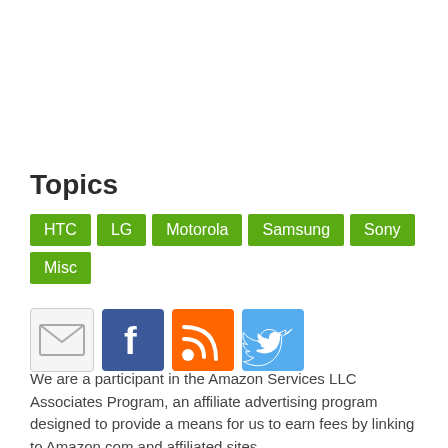Topics
HTC
LG
Motorola
Samsung
Sony
Misc
[Figure (illustration): Social media icons: Email, Facebook, RSS, Twitter]
We are a participant in the Amazon Services LLC Associates Program, an affiliate advertising program designed to provide a means for us to earn fees by linking to Amazon.com and affiliated sites.